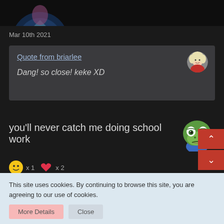[Figure (screenshot): Top strip showing partial game/profile image with dark background]
Mar 10th 2021
Quote from briarlee
Dang! so close! keke XD
you'll never catch me doing school work
[Figure (illustration): Pepe the Frog emoji wearing blue shirt]
x 1   x 2
This site uses cookies. By continuing to browse this site, you are agreeing to our use of cookies.